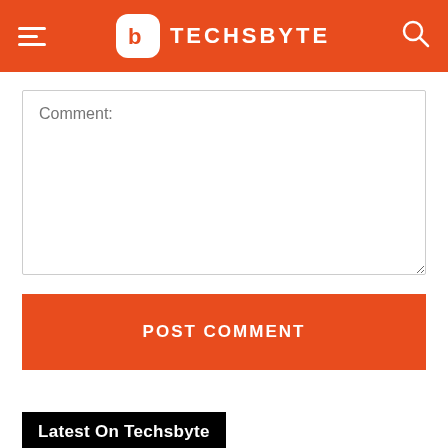TECHSBYTE
Comment:
POST COMMENT
Latest On Techsbyte